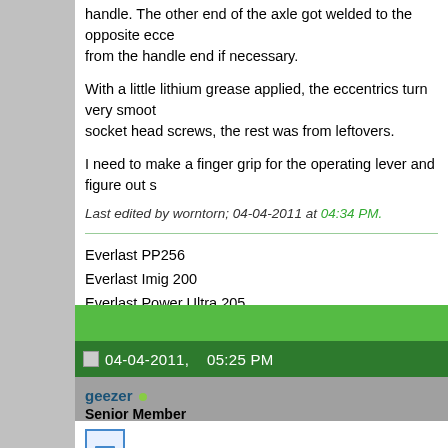handle. The other end of the axle got welded to the opposite eccentric from the handle end if necessary.
With a little lithium grease applied, the eccentrics turn very smoothly. Besides the socket head screws, the rest was from leftovers.
I need to make a finger grip for the operating lever and figure out s
Last edited by worntorn; 04-04-2011 at 04:34 PM.
Everlast PP256
Everlast Imig 200
Everlast Power Ultra 205
P&H 400 amp A.C.
Miller 230 amp with Onan power
04-04-2011, 05:25 PM
geezer
Senior Member
[Figure (illustration): Document/post icon with horizontal lines]